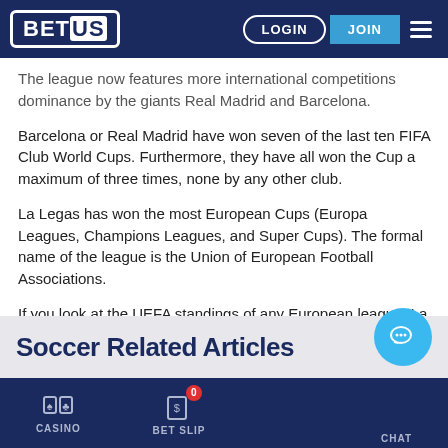BET US | LOGIN | JOIN
The league now features more international competitions dominance by the giants Real Madrid and Barcelona.
Barcelona or Real Madrid have won seven of the last ten FIFA Club World Cups. Furthermore, they have all won the Cup a maximum of three times, none by any other club.
La Legas has won the most European Cups (Europa Leagues, Champions Leagues, and Super Cups). The formal name of the league is the Union of European Football Associations.
If you look at the UEFA standings of any European league, La Liga has always been at the top.
Soccer Related Articles
CASINO | BET SLIP 0 | CHAT